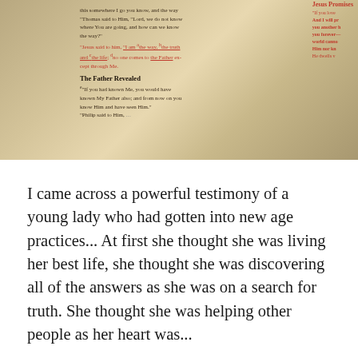[Figure (photo): Open Bible showing John 14 text including 'The Father Revealed' heading, with red letter text and underlined passages about Jesus being the way, truth and life. Bible is open on a wooden surface with page edges visible.]
I came across a powerful testimony of a young lady who had gotten into new age practices... At first she thought she was living her best life, she thought she was discovering all of the answers as she was on a search for truth. She thought she was helping other people as her heart was...
READ MORE